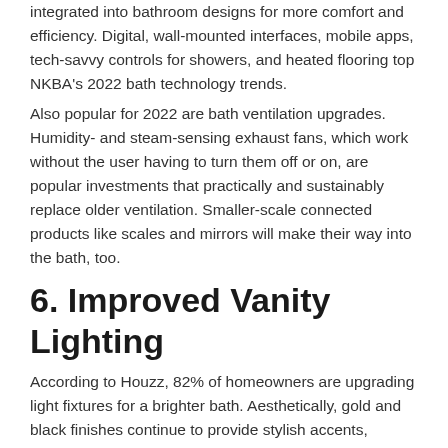integrated into bathroom designs for more comfort and efficiency. Digital, wall-mounted interfaces, mobile apps, tech-savvy controls for showers, and heated flooring top NKBA's 2022 bath technology trends.
Also popular for 2022 are bath ventilation upgrades. Humidity- and steam-sensing exhaust fans, which work without the user having to turn them off or on, are popular investments that practically and sustainably replace older ventilation. Smaller-scale connected products like scales and mirrors will make their way into the bath, too.
6. Improved Vanity Lighting
According to Houzz, 82% of homeowners are upgrading light fixtures for a brighter bath. Aesthetically, gold and black finishes continue to provide stylish accents, according to Greg Martin, creative director of design for Kichler Lighting. "White glass is also coming on strong as we move